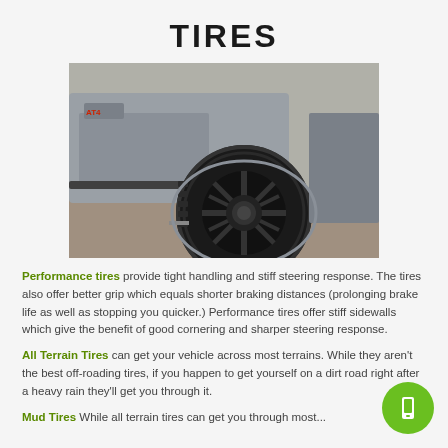TIRES
[Figure (photo): Close-up photo of a large black off-road tire on a silver GMC Sierra AT4 truck, with black multi-spoke aftermarket wheel, parked on pavement]
Performance tires provide tight handling and stiff steering response. The tires also offer better grip which equals shorter braking distances (prolonging brake life as well as stopping you quicker.) Performance tires offer stiff sidewalls which give the benefit of good cornering and sharper steering response.
All Terrain Tires can get your vehicle across most terrains. While they aren't the best off-roading tires, if you happen to get yourself on a dirt road right after a heavy rain they'll get you through it.
Mud Tires While all terrain tires can get you through most...